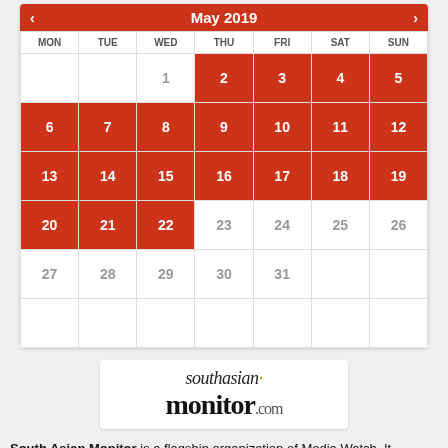[Figure (other): May 2019 calendar with red highlighted dates for 2-5, 6-19, 20-22 and white/grey for 1, 23-31]
[Figure (logo): southasian monitor.com logo]
South Asian Monitor is a flagship organization of Media Watch. It monitors